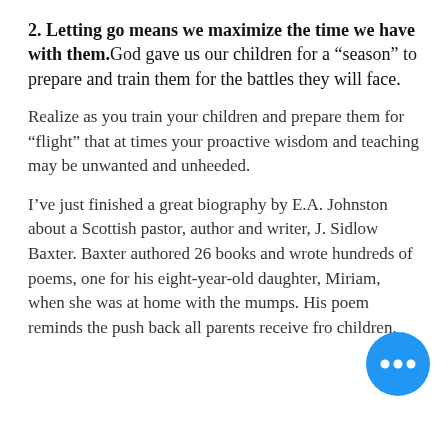2. Letting go means we maximize the time we have with them. God gave us our children for a “season” to prepare and train them for the battles they will face.
Realize as you train your children and prepare them for “flight” that at times your proactive wisdom and teaching may be unwanted and unheeded.
I’ve just finished a great biography by E.A. Johnston about a Scottish pastor, author and writer, J. Sidlow Baxter. Baxter authored 26 books and wrote hundreds of poems, one for his eight-year-old daughter, Miriam, when she was at home with the mumps. His poem reminds the push back all parents receive fro children.